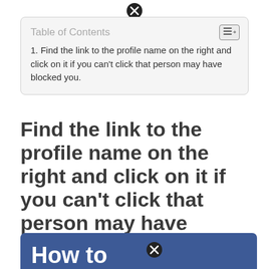[Figure (other): Close/dismiss button icon (circle with X) at top center]
Table of Contents
1. Find the link to the profile name on the right and click on it if you can't click that person may have blocked you.
Find the link to the profile name on the right and click on it if you can't click that person may have blocked you.
[Figure (screenshot): Blue banner section at bottom showing 'How to' text in white bold font, with a close/dismiss button (circle with X) overlaid]